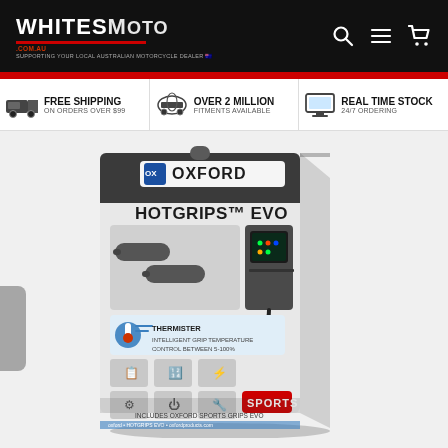[Figure (logo): WhitesMoto logo on black header bar with search, menu, and cart icons]
FREE SHIPPING ON ORDERS OVER $99
OVER 2 MILLION FITMENTS AVAILABLE
REAL TIME STOCK 24/7 ORDERING
[Figure (photo): Oxford Hotgrips EVO Sports product in retail packaging box, showing heated motorcycle grips and digital controller]